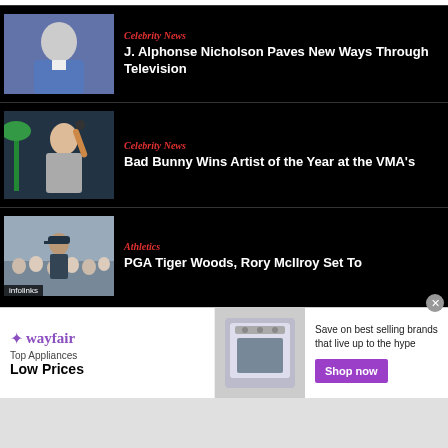[Figure (photo): Man in blue suit at event]
Celebrity News
J. Alphonse Nicholson Paves New Ways Through Television
[Figure (photo): Singer performing on stage holding trophy, palm trees in background]
Celebrity News
Bad Bunny Wins Artist of the Year at the VMA's
[Figure (photo): Golfer at tournament with large crowd]
Athletics
PGA Tiger Woods, Rory McIlroy Set To
[Figure (other): Wayfair advertisement banner: Top Appliances Low Prices, Shop now button, appliance image]
infolinks